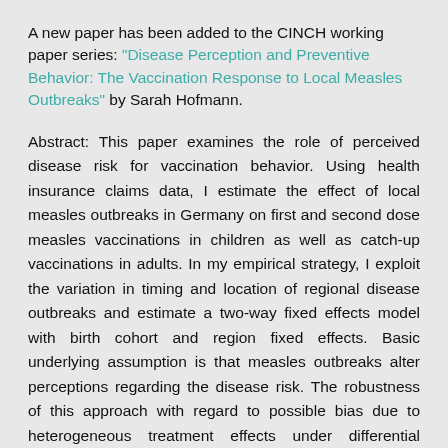A new paper has been added to the CINCH working paper series: "Disease Perception and Preventive Behavior: The Vaccination Response to Local Measles Outbreaks" by Sarah Hofmann.
Abstract: This paper examines the role of perceived disease risk for vaccination behavior. Using health insurance claims data, I estimate the effect of local measles outbreaks in Germany on first and second dose measles vaccinations in children as well as catch-up vaccinations in adults. In my empirical strategy, I exploit the variation in timing and location of regional disease outbreaks and estimate a two-way fixed effects model with birth cohort and region fixed effects. Basic underlying assumption is that measles outbreaks alter perceptions regarding the disease risk. The robustness of this approach with regard to possible bias due to heterogeneous treatment effects under differential treatment timing is assessed through the use of alternative estimators. The results show that measles